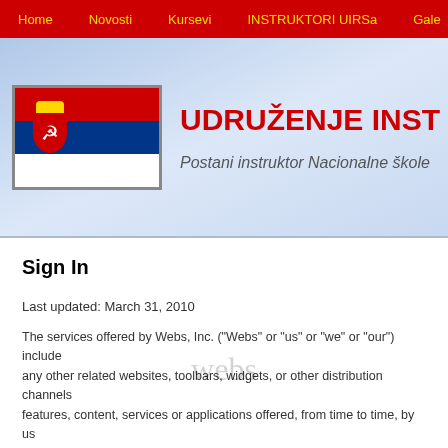Home | Novosti | Kursevi | INSTRUKTORI UIRSa | Gale
[Figure (screenshot): Website header banner with Serbian flag on left and red bold text 'UDRUŽENJE INST' (truncated) on right, with italic subtitle 'Postani instruktor Nacionalne škole' on light blue gradient background]
Sign In
Last updated: March 31, 2010
The services offered by Webs, Inc. ("Webs" or "us" or "we" or "our") include any other related websites, toolbars, widgets, or other distribution channels features, content, services or applications offered, from time to time, by us
[Figure (logo): Webs watermark text in light gray serif font]